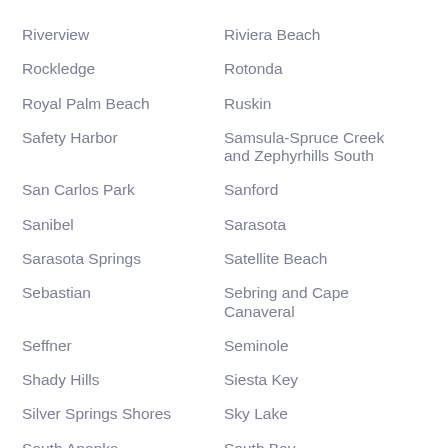Riverview
Riviera Beach
Rockledge
Rotonda
Royal Palm Beach
Ruskin
Safety Harbor
Samsula-Spruce Creek and Zephyrhills South
San Carlos Park
Sanford
Sanibel
Sarasota
Sarasota Springs
Satellite Beach
Sebastian
Sebring and Cape Canaveral
Seffner
Seminole
Shady Hills
Siesta Key
Silver Springs Shores
Sky Lake
South Apopka
South Bay